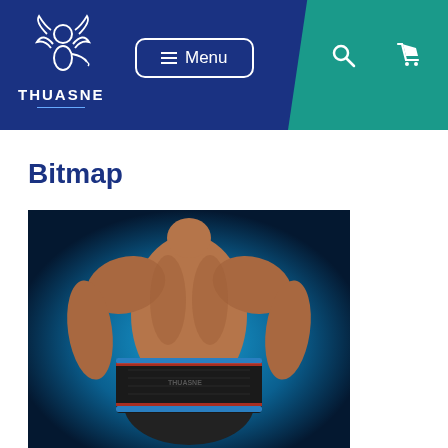[Figure (screenshot): Thuasne website header with blue navigation bar containing the Thuasne logo (angel figure) and brand name, a Menu button, and teal section with search and cart icons]
Bitmap
[Figure (photo): Back view of a shirtless male athlete wearing a black back support brace/lumbar support belt with blue and red trim, against a blue background]